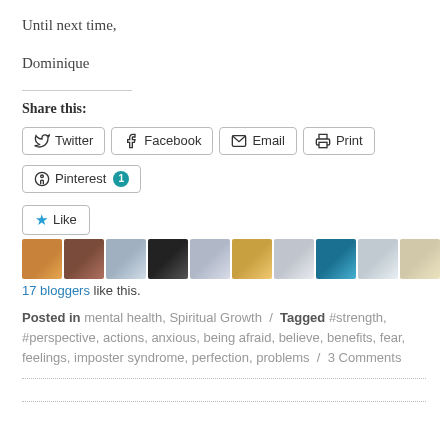Until next time,
Dominique
Share this:
Twitter  Facebook  Email  Print  Pinterest 1
[Figure (other): Like button and 10 blogger avatar photos]
17 bloggers like this.
Posted in mental health, Spiritual Growth / Tagged #strength, #perspective, actions, anxious, being afraid, believe, benefits, fear, feelings, imposter syndrome, perfection, problems / 3 Comments